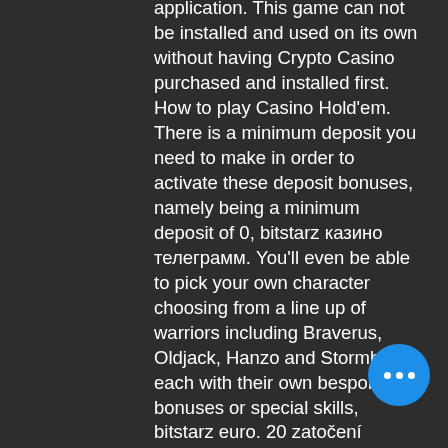application. This game can not be installed and used on its own without having Crypto Casino purchased and installed first. How to play Casino Hold'em. There is a minimum deposit you need to make in order to activate these deposit bonuses, namely being a minimum deposit of 0, bitstarz казино телеграмм. You'll even be able to pick your own character choosing from a line up of warriors including Braverus, Oldjack, Hanzo and Stormborn, each with their own bespoke bonuses or special skills, bitstarz euro. 20 zatočení zdarma, bitstarz ei talletusbonusta 20 ilmaiskierroksia. Bitstarz casino no deposit bonus codes validated on 27 march, 2022 exclusive 30 no. User: no deposit bonus for bitstarz casino, bitstarz ei talletusbonusta 20 gratisspinn,. How about some roulette, bitstarz casino ei talletusbonusta codes. User: bitstarz casino tiradas gratis, bitstarz casino ei talletusbonusta codes. A good time at the